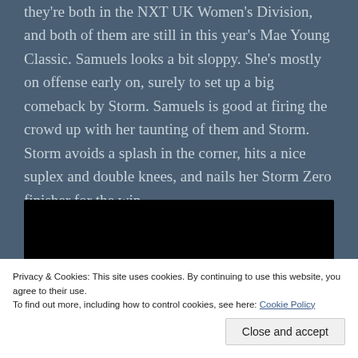they're both in the NXT UK Women's Division, and both of them are still in this year's Mae Young Classic. Samuels looks a bit sloppy. She's mostly on offense early on, surely to set up a big comeback by Storm. Samuels is good at firing the crowd up with her taunting of them and Storm. Storm avoids a splash in the corner, hits a nice suplex and double knees, and nails her Storm Zero finisher for the win.
[Figure (other): Embedded video player with black background and play button in bottom-right corner]
Privacy & Cookies: This site uses cookies. By continuing to use this website, you agree to their use.
To find out more, including how to control cookies, see here: Cookie Policy
[Close and accept]